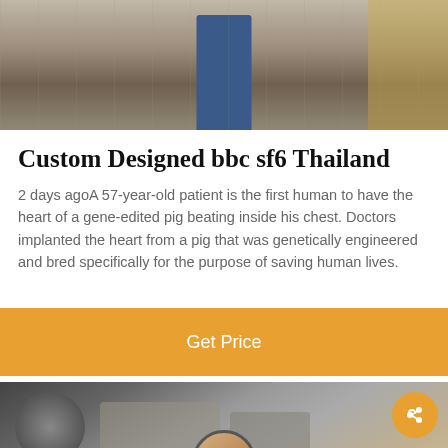[Figure (photo): Top photo showing industrial or warehouse setting with a person in blue clothing visible, metal grating and structures in background]
Custom Designed bbc sf6 Thailand
2 days agoA 57-year-old patient is the first human to have the heart of a gene-edited pig beating inside his chest. Doctors implanted the heart from a pig that was genetically engineered and bred specifically for the purpose of saving human lives.
[Figure (screenshot): Orange Get Price button]
[Figure (photo): Bottom photo showing industrial machinery, engine or mechanical equipment with metal pipes and components]
Leave Message
Chat Online